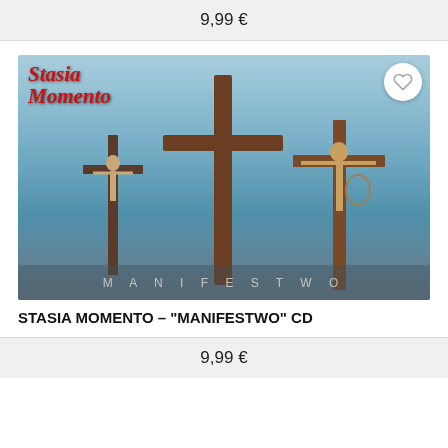9,99 €
[Figure (photo): Album cover for STASIA MOMENTO 'MANIFESTWO' CD showing three wooden crosses with crucifixes against a misty blue background, with the band logo in red gothic lettering top-left and 'MANIFESTWO' text at the bottom. A wishlist heart button is in the top-right corner.]
STASIA MOMENTO – "MANIFESTWO" CD
9,99 €